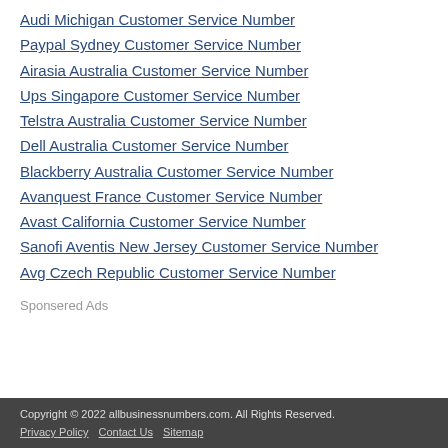Audi Michigan Customer Service Number
Paypal Sydney Customer Service Number
Airasia Australia Customer Service Number
Ups Singapore Customer Service Number
Telstra Australia Customer Service Number
Dell Australia Customer Service Number
Blackberry Australia Customer Service Number
Avanquest France Customer Service Number
Avast California Customer Service Number
Sanofi Aventis New Jersey Customer Service Number
Avg Czech Republic Customer Service Number
Sponsered Ads
Copyright © 2022 allbusinessnumbers.com. All Rights Reserved. Privacy Policy Contact Us Sitemap